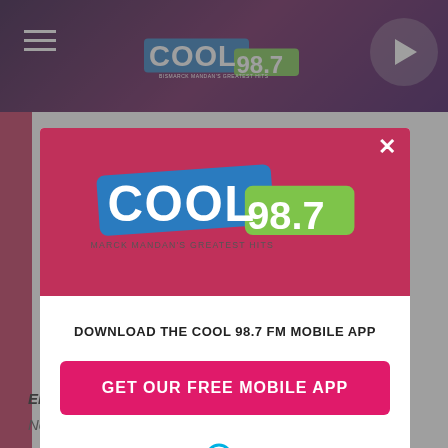[Figure (screenshot): Modal popup overlay on a radio station website. Background shows COOL 98.7 radio station website with dark purple header, hamburger menu, play button, and partial article content. A modal dialog box appears center-screen with pink top section containing COOL 98.7 logo, white bottom section with download app prompt, pink GET OUR FREE MOBILE APP button, and Amazon Alexa listen option. Close X button top-right of modal. Below modal: 'Elle – WINNER' and 'Neruda' text visible.]
COOL 98.7 — BISMARCK MANDAN'S GREATEST HITS
DOWNLOAD THE COOL 98.7 FM MOBILE APP
GET OUR FREE MOBILE APP
Also listen on: amazon alexa
Elle – WINNER
Neruda